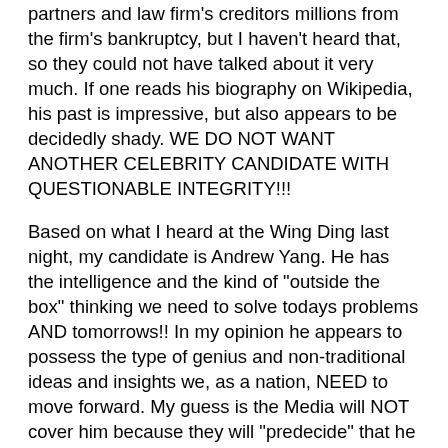partners and law firm's creditors millions from the firm's bankruptcy, but I haven't heard that, so they could not have talked about it very much. If one reads his biography on Wikipedia, his past is impressive, but also appears to be decidedly shady. WE DO NOT WANT ANOTHER CELEBRITY CANDIDATE WITH QUESTIONABLE INTEGRITY!!!
Based on what I heard at the Wing Ding last night, my candidate is Andrew Yang. He has the intelligence and the kind of "outside the box" thinking we need to solve todays problems AND tomorrows!! In my opinion he appears to possess the type of genius and non-traditional ideas and insights we, as a nation, NEED to move forward. My guess is the Media will NOT cover him because they will "predecide" that he can't win because he is too "non-traditional." They said trump could not win, BUT, because he was a "celebrity," they spent all their time covering him!! Voila! president trump!! And, yes, I know it is we viewers' fault!! Because "celebrity" is what so many